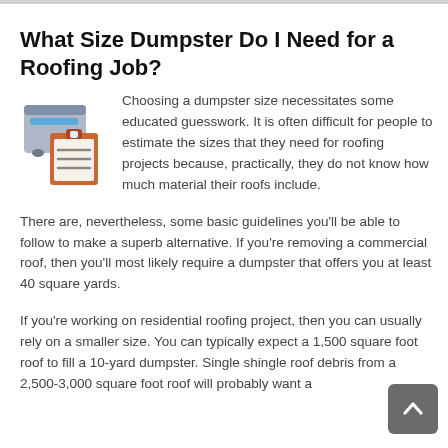What Size Dumpster Do I Need for a Roofing Job?
[Figure (illustration): Illustration of a dumpster and a clipboard with lines on it]
Choosing a dumpster size necessitates some educated guesswork. It is often difficult for people to estimate the sizes that they need for roofing projects because, practically, they do not know how much material their roofs include.
There are, nevertheless, some basic guidelines you'll be able to follow to make a superb alternative. If you're removing a commercial roof, then you'll most likely require a dumpster that offers you at least 40 square yards.
If you're working on residential roofing project, then you can usually rely on a smaller size. You can typically expect a 1,500 square foot roof to fill a 10-yard dumpster. Single shingle roof debris from a 2,500-3,000 square foot roof will probably want a